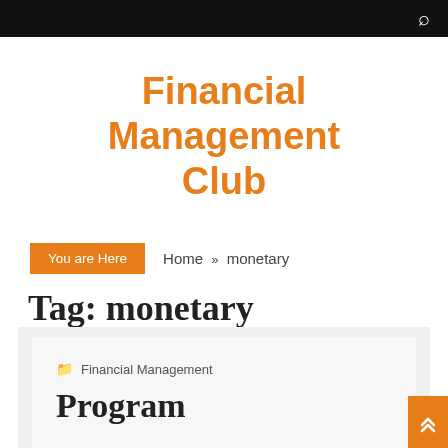Financial Management Club
Financial Management Club
You are Here   Home » monetary
Tag: monetary
Financial Management
Program